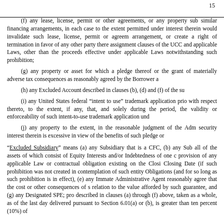15
(f) any lease, license, permit or other agreements, or any property sub similar financing arrangements, in each case to the extent permitted under interest therein would invalidate such lease, license, permit or agreem arrangement, or create a right of termination in favor of any other party there assignment clauses of the UCC and applicable Laws, other than the proceeds effective under applicable Laws notwithstanding such prohibition;
(g) any property or asset for which a pledge thereof or the grant of materially adverse tax consequences as reasonably agreed by the Borrower a
(h) any Excluded Account described in clauses (b), (d) and (f) of the su
(i) any United States federal “intent to use” trademark application prio with respect thereto, to the extent, if any, that, and solely during the period, the validity or enforceability of such intent-to-use trademark application und
(j) any property to the extent, in the reasonable judgment of the Adm security interest therein is excessive in view of the benefits of such pledge or
“Excluded Subsidiary” means (a) any Subsidiary that is a CFC, (b) any Sub all of the assets of which consist of Equity Interests and/or Indebtedness of one c provision of any applicable Law or contractual obligation existing on the Closi Closing Date (if such prohibition was not created in contemplation of such entity Obligations (and for so long as such prohibition is in effect), (e) any Immate Administrative Agent reasonably agree that the cost or other consequences of s relation to the value afforded by such guarantee, and (g) any Designated SPE; pro described in clauses (a) through (f) above, taken as a whole, as of the last day delivered pursuant to Section 6.01(a) or (b), is greater than ten percent (10%) of